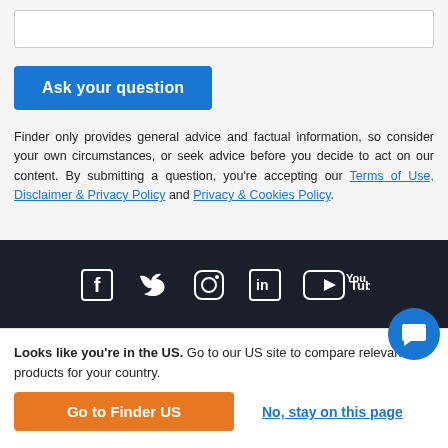[Input box area]
Ask your question
Finder only provides general advice and factual information, so consider your own circumstances, or seek advice before you decide to act on our content. By submitting a question, you're accepting our Terms of Use, Disclaimer & Privacy Policy and Privacy & Cookies Policy.
[Figure (infographic): Dark footer bar with social media icons: Facebook, Twitter, Instagram, LinkedIn, YouTube]
Looks like you're in the US. Go to our US site to compare relevant products for your country.
Go to Finder US
No, stay on this page